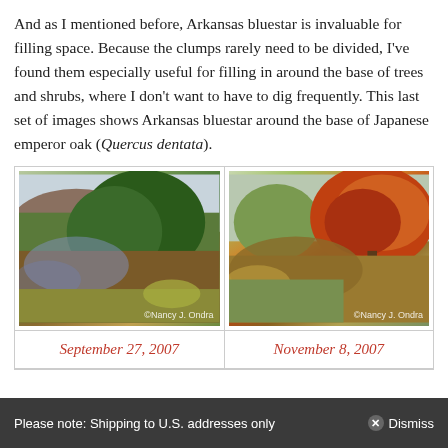And as I mentioned before, Arkansas bluestar is invaluable for filling space. Because the clumps rarely need to be divided, I've found them especially useful for filling in around the base of trees and shrubs, where I don't want to have to dig frequently. This last set of images shows Arkansas bluestar around the base of Japanese emperor oak (Quercus dentata).
[Figure (photo): Garden photo showing Arkansas bluestar plants around the base of a Japanese emperor oak tree, late September 2007. Blue flowers and brownish-green foliage visible with a barn in the background.]
[Figure (photo): Garden photo showing Arkansas bluestar plants around the base of a Japanese emperor oak tree in autumn, November 2007. Orange and red fall foliage on the oak, golden-brown bluestar foliage.]
September 27, 2007
November 8, 2007
Please note: Shipping to U.S. addresses only   Dismiss